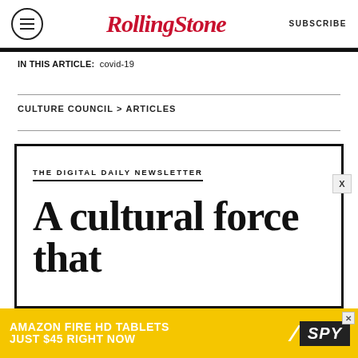Rolling Stone | SUBSCRIBE
IN THIS ARTICLE: covid-19
CULTURE COUNCIL > ARTICLES
THE DIGITAL DAILY NEWSLETTER
A cultural force that
[Figure (other): Amazon Fire HD Tablets advertisement banner: 'AMAZON FIRE HD TABLETS JUST $45 RIGHT NOW' with SPY logo]